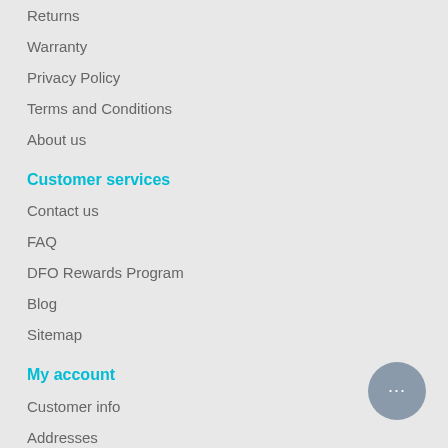Returns
Warranty
Privacy Policy
Terms and Conditions
About us
Customer services
Contact us
FAQ
DFO Rewards Program
Blog
Sitemap
My account
Customer info
Addresses
Orders
Wishlist
Products